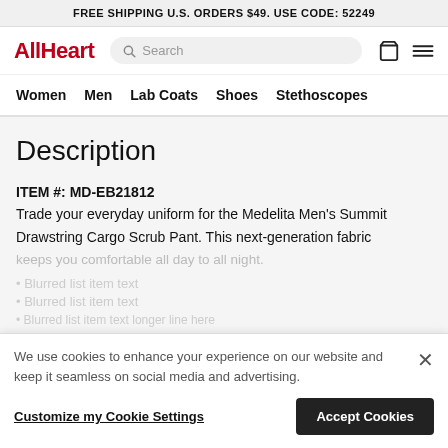FREE SHIPPING U.S. ORDERS $49. USE CODE: 52249
[Figure (logo): AllHeart logo in red bold text, with search bar and navigation icons]
Women  Men  Lab Coats  Shoes  Stethoscopes
Description
ITEM #: MD-EB21812
Trade your everyday uniform for the Medelita Men's Summit Drawstring Cargo Scrub Pant. This next-generation fabric
We use cookies to enhance your experience on our website and keep it seamless on social media and advertising.
Customize my Cookie Settings   Accept Cookies